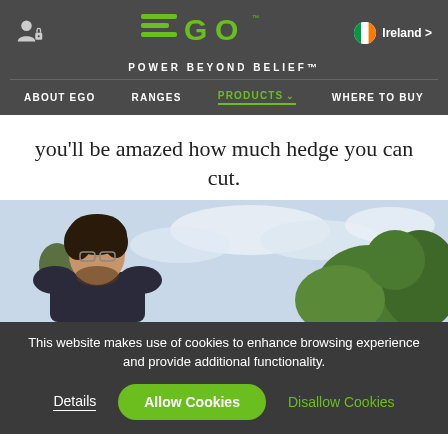EGO POWER BEYOND BELIEF — Ireland — About EGO | Ranges | Products | Where to Buy
you'll be amazed how much hedge you can cut.
[Figure (photo): A person with curly dark hair wearing safety glasses and a dark sweatshirt, outdoors with green trees and a cloudy sky in the background, appearing to use a hedge trimmer.]
This website makes use of cookies to enhance browsing experience and provide additional functionality.
Details   Allow Cookies   Disallow Cookies